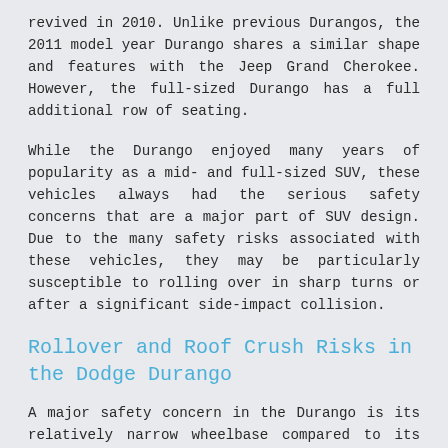revived in 2010. Unlike previous Durangos, the 2011 model year Durango shares a similar shape and features with the Jeep Grand Cherokee. However, the full-sized Durango has a full additional row of seating.
While the Durango enjoyed many years of popularity as a mid- and full-sized SUV, these vehicles always had the serious safety concerns that are a major part of SUV design. Due to the many safety risks associated with these vehicles, they may be particularly susceptible to rolling over in sharp turns or after a significant side-impact collision.
Rollover and Roof Crush Risks in the Dodge Durango
A major safety concern in the Durango is its relatively narrow wheelbase compared to its increased height. Especially, after the addition of